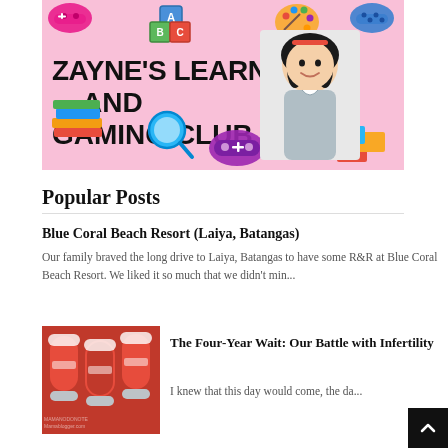[Figure (illustration): Banner for 'Zayne's Learning and Gaming Club' on a pink background with educational and gaming clipart icons (ABC blocks, game controllers, books, magnifying glass, microscope, paint palette, Lego bricks) and a photo of a young girl smiling]
Popular Posts
Blue Coral Beach Resort (Laiya, Batangas)
Our family braved the long drive to Laiya, Batangas to have some R&R at Blue Coral Beach Resort. We liked it so much that we didn't min...
[Figure (photo): Thumbnail photo showing red sneakers/shoes hanging or displayed on a red background]
The Four-Year Wait: Our Battle with Infertility
I knew that this day would come, the da...